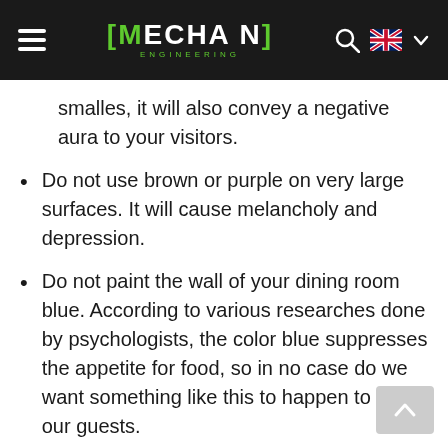MECHA N ENGINEERING
smalles, it will also convey a negative aura to your visitors.
Do not use brown or purple on very large surfaces. It will cause melancholy and depression.
Do not paint the wall of your dining room blue. According to various researches done by psychologists, the color blue suppresses the appetite for food, so in no case do we want something like this to happen to us or our guests.
Do not overdo it with the variety of